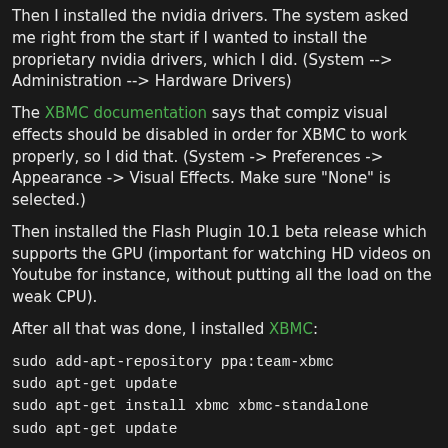Then I installed the nvidia drivers. The system asked me right from the start if I wanted to install the proprietary nvidia drivers, which I did. (System --> Administration --> Hardware Drivers)
The XBMC documentation says that compiz visual effects should be disabled in order for XBMC to work properly, so I did that. (System -> Preferences -> Appearance -> Visual Effects. Make sure "None" is selected.)
Then installed the Flash Plugin 10.1 beta release which supports the GPU (important for watching HD videos on Youtube for instance, without putting all the load on the weak CPU).
After all that was done, I installed XBMC:
sudo add-apt-repository ppa:team-xbmc
sudo apt-get update
sudo apt-get install xbmc xbmc-standalone
sudo apt-get update